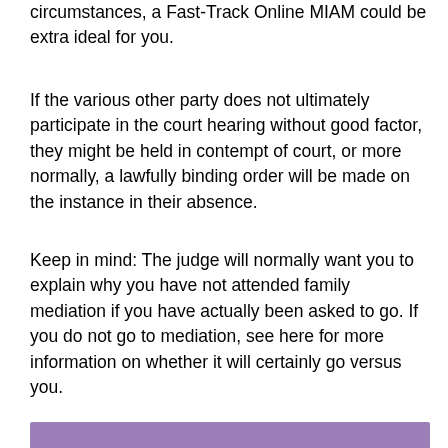circumstances, a Fast-Track Online MIAM could be extra ideal for you.
If the various other party does not ultimately participate in the court hearing without good factor, they might be held in contempt of court, or more normally, a lawfully binding order will be made on the instance in their absence.
Keep in mind: The judge will normally want you to explain why you have not attended family mediation if you have actually been asked to go. If you do not go to mediation, see here for more information on whether it will certainly go versus you.
[Figure (other): Purple/mauve colored decorative bar at the bottom of the page]